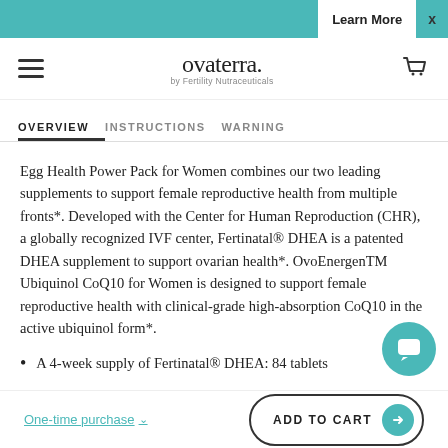Learn More  x
[Figure (logo): Ovaterra by Fertility Nutraceuticals logo with hamburger menu and cart icon]
OVERVIEW   INSTRUCTIONS   WARNING
Egg Health Power Pack for Women combines our two leading supplements to support female reproductive health from multiple fronts*. Developed with the Center for Human Reproduction (CHR), a globally recognized IVF center, Fertinatal® DHEA is a patented DHEA supplement to support ovarian health*. OvoEnergenTM Ubiquinol CoQ10 for Women is designed to support female reproductive health with clinical-grade high-absorption CoQ10 in the active ubiquinol form*.
A 4-week supply of Fertinatal® DHEA: 84 tablets
One-time purchase  ADD TO CART